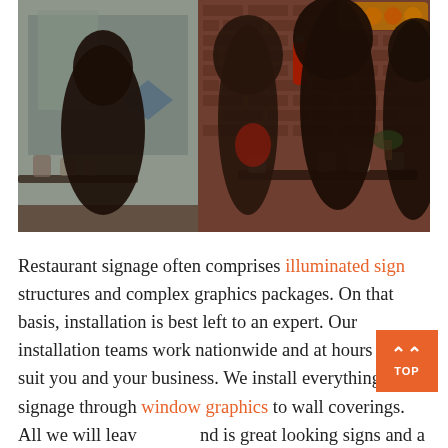[Figure (photo): Interior of a cafe/restaurant with people seated at tables. Brick wall on the right, large windows on the left showing a street scene. Silhouetted figures of patrons, some wearing headscarves. Tables with mugs and cups. A fire extinguisher on a pillar. Warm ambient lighting.]
Restaurant signage often comprises illuminated sign structures and complex graphics packages. On that basis, installation is best left to an expert. Our installation teams work nationwide and at hours that suit you and your business. We install everything from signage through window graphics to wall coverings. All we will leave behind is great looking signs and a very positive impression of how easy it was to deal with us. I think we're saying, leave it to